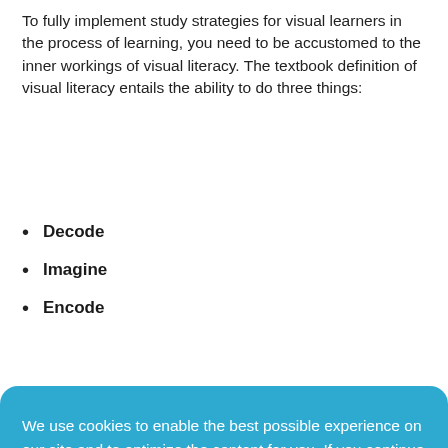To fully implement study strategies for visual learners in the process of learning, you need to be accustomed to the inner workings of visual literacy. The textbook definition of visual literacy entails the ability to do three things:
Decode
Imagine
Encode
We use cookies to enable the best possible experience on our site and to optimize the content for you. If you continue surfing you agree.  Learn more
Got it!